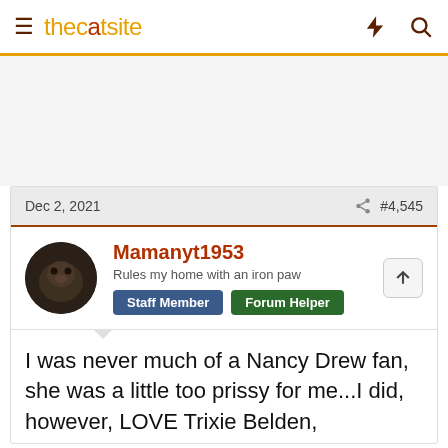thecatsite
Dec 2, 2021  #4,545
Mamanyt1953
Rules my home with an iron paw
Staff Member  Forum Helper
I was never much of a Nancy Drew fan, she was a little too prissy for me...I did, however, LOVE Trixie Belden, total tomboy, and right up my alley!